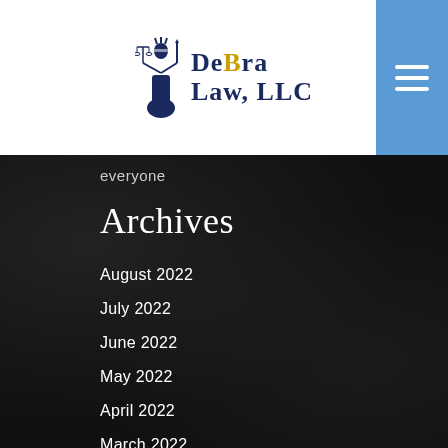[Figure (logo): DeBra Law LLC logo with Lady Justice figure holding scales, dark blue text]
everyone
Archives
August 2022
July 2022
June 2022
May 2022
April 2022
March 2022
February 2022